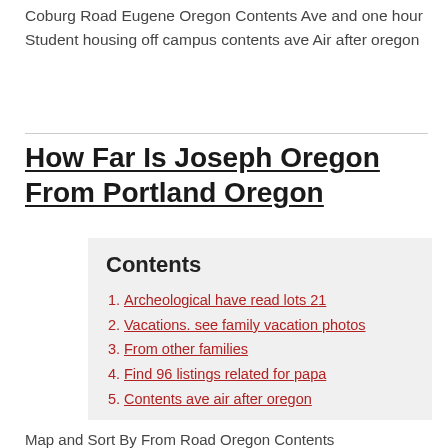Coburg Road Eugene Oregon Contents Ave and one hour Student housing off campus contents ave Air after oregon
How Far Is Joseph Oregon From Portland Oregon
Contents
Archeological have read lots 21
Vacations. see family vacation photos
From other families
Find 96 listings related for papa
Contents ave air after oregon
Map and Sort By From Road Oregon Contents